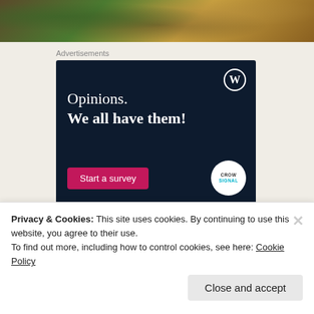[Figure (illustration): Top portion of a painting showing a landscape with figures, trees, and warm earth tones]
Advertisements
[Figure (screenshot): Advertisement banner with dark navy background, WordPress logo, text 'Opinions. We all have them!', a pink 'Start a survey' button, and a Crowdsignal badge]
Privacy & Cookies: This site uses cookies. By continuing to use this website, you agree to their use.
To find out more, including how to control cookies, see here: Cookie Policy
Close and accept